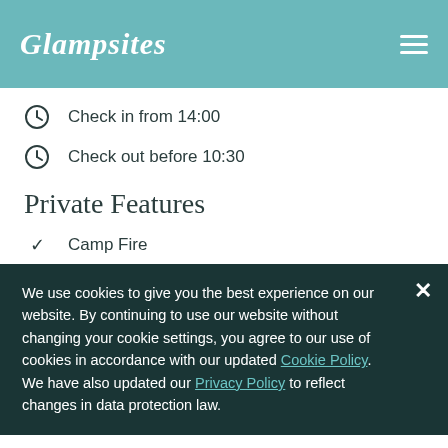Glampsites
Check in from 14:00
Check out before 10:30
Private Features
Camp Fire
We use cookies to give you the best experience on our website. By continuing to use our website without changing your cookie settings, you agree to our use of cookies in accordance with our updated Cookie Policy. We have also updated our Privacy Policy to reflect changes in data protection law.